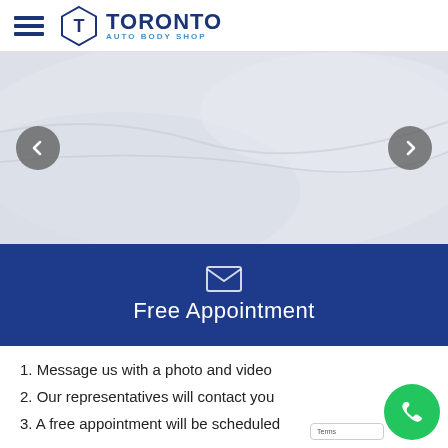[Figure (logo): Toronto Auto Body Shop logo with hamburger menu icon, hexagon T emblem, and TORONTO / AUTO BODY SHOP text in navy blue]
[Figure (photo): Car body panel close-up light grey background image used as carousel banner with left and right navigation arrows]
[Figure (infographic): Blue banner section with envelope icon and Free Appointment text in white]
1. Message us with a photo and video
2. Our representatives will contact you
3. A free appointment will be scheduled